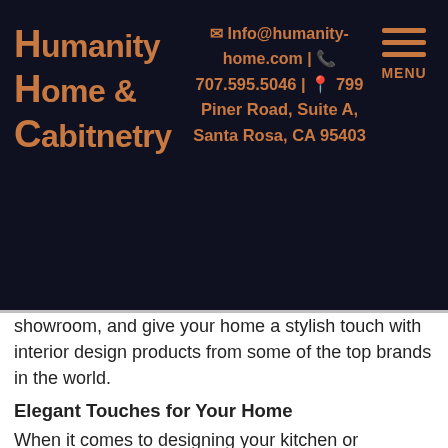Humanity Home & Cabinetry | Info@humanity-home.com | 707.595.5046 | 799 Piner Road, Suite A, Santa Rosa, CA 95403 | MENU
showroom, and give your home a stylish touch with interior design products from some of the top brands in the world.
Elegant Touches for Your Home
When it comes to designing your kitchen or bathroom, you want the best – like the rest of your home. You do not want these spaces to blend into the background, but rather shine, and be the envy of anyone who enters your home. This is where Humanity Home & Cabinetry comes in! The company's new showroom offers custom cabinetry to suit all styles and budgets as well as a plethora of stylish and elegant home accessories, rugs,